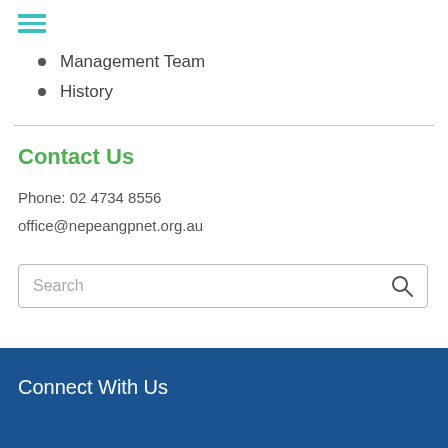[Figure (other): Hamburger menu icon with three horizontal teal/cyan lines]
Management Team
History
Contact Us
Phone: 02 4734 8556
office@nepeangpnet.org.au
[Figure (other): Search input box with placeholder text 'Search' and a search icon on the right]
Connect With Us